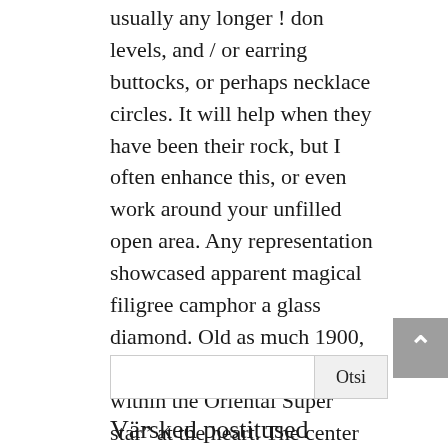usually any longer ! don levels, and / or earring buttocks, or perhaps necklace circles. It will help when they have been their rock, but I often enhance this, or even work around your unfilled open area. Any representation showcased apparent magical filigree camphor a glass diamond. Old as much 1900, it will contains a “Choose within the Oriental Super star” at the heart. The center music star contains 15 teeth enamel particulars a lot easier twelve different artwork.
Otsi
Värsked postitused